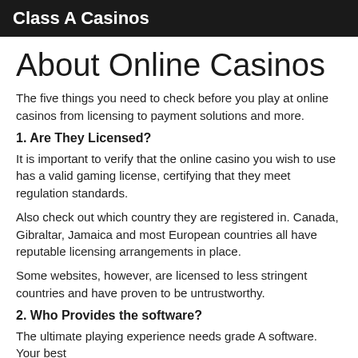Class A Casinos
About Online Casinos
The five things you need to check before you play at online casinos from licensing to payment solutions and more.
1. Are They Licensed?
It is important to verify that the online casino you wish to use has a valid gaming license, certifying that they meet regulation standards.
Also check out which country they are registered in. Canada, Gibraltar, Jamaica and most European countries all have reputable licensing arrangements in place.
Some websites, however, are licensed to less stringent countries and have proven to be untrustworthy.
2. Who Provides the software?
The ultimate playing experience needs grade A software. Your best